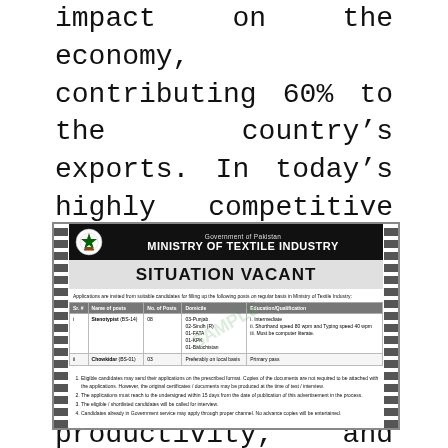impact on the economy, contributing 60% to the country's exports. In today's highly competitive global environment, the textile sector needs to upgrade its supply chain, improve productivity, and maximize value-addition to be able to survive..
[Figure (infographic): Government of Pakistan, Ministry of Textile Industry – Situation Vacant notice with a table listing vacant positions (Stenotypist BS-14 and Chowkidar BS-01) and application instructions.]